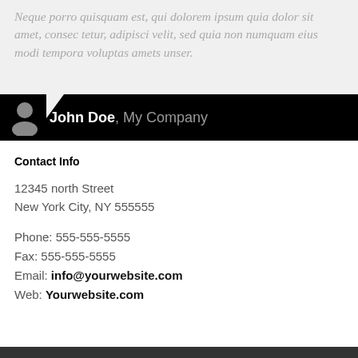Neque porro quisquam est, qui dolorem ipsum quia dolor sit amet, consec tetur, adipisci velit, sed quia non numquam eius modi tempora voluptas amets unser.
John Doe, My Company
Contact Info
12345 north Street
New York City, NY 555555
Phone: 555-555-5555
Fax: 555-555-5555
Email: info@yourwebsite.com
Web: Yourwebsite.com